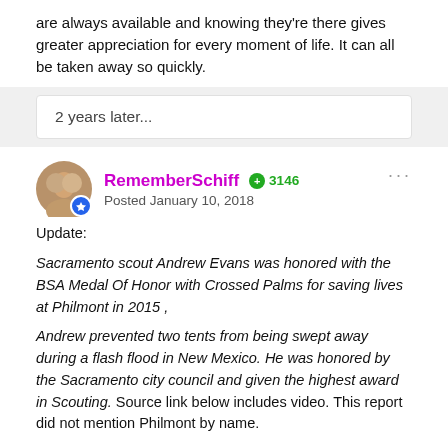are always available and knowing they're there gives greater appreciation for every moment of life. It can all be taken away so quickly.
2 years later...
RememberSchiff  +3146  Posted January 10, 2018
Update:
Sacramento scout Andrew Evans was honored with the BSA Medal Of Honor with Crossed Palms for saving lives at Philmont in 2015,
Andrew prevented two tents from being swept away during a flash flood in New Mexico. He was honored by the Sacramento city council and given the highest award in Scouting. Source link below includes video. This report did not mention Philmont by name.